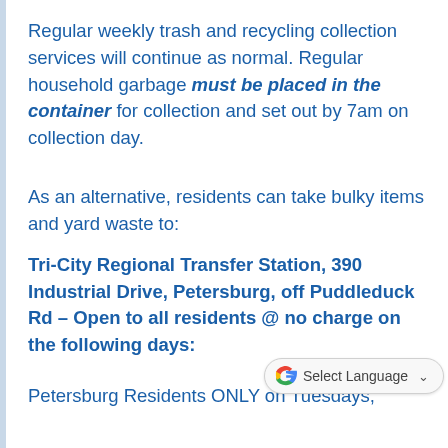Regular weekly trash and recycling collection services will continue as normal. Regular household garbage must be placed in the container for collection and set out by 7am on collection day.
As an alternative, residents can take bulky items and yard waste to:
Tri-City Regional Transfer Station, 390 Industrial Drive, Petersburg, off Puddleduck Rd – Open to all residents @ no charge on the following days:
Petersburg Residents ONLY on Tuesdays,